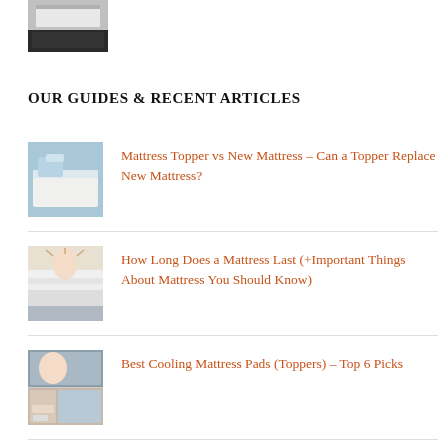[Figure (photo): Partial view of a bed frame with dark bed skirt, cropped at top]
OUR GUIDES & RECENT ARTICLES
[Figure (photo): Mattress topper product image with white foam and blue pillow background]
Mattress Topper vs New Mattress – Can a Topper Replace New Mattress?
[Figure (photo): Woman with arms raised on stacked white mattresses]
How Long Does a Mattress Last (+Important Things About Mattress You Should Know)
[Figure (photo): Collage of cooling mattress pad images showing woman sleeping and mattress details]
Best Cooling Mattress Pads (Toppers) – Top 6 Picks
[Figure (photo): Person with yellow cleaning gloves on a mattress]
Ultimate Guide & The 6 Best Mattress Topper for Back Pain